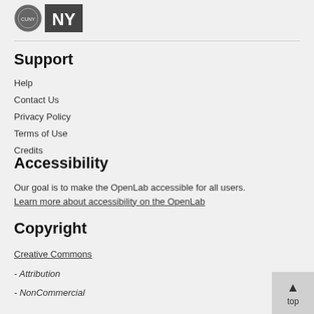[Figure (logo): CUNY college seal and CUNY NY logo]
Support
Help
Contact Us
Privacy Policy
Terms of Use
Credits
Accessibility
Our goal is to make the OpenLab accessible for all users.
Learn more about accessibility on the OpenLab
Copyright
Creative Commons
- Attribution
- NonCommercial